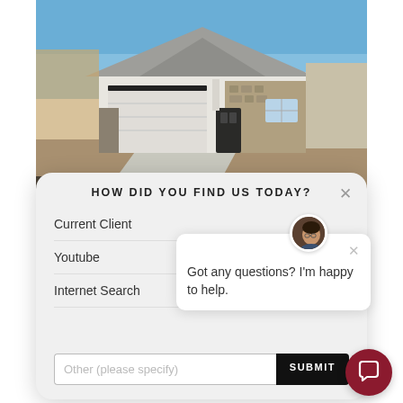[Figure (photo): Exterior photo of a single-story new construction home with white garage door, stone facade accents, and blue sky. Unfinished driveway and landscaping visible.]
$44...
HOW DID YOU FIND US TODAY?
Current Client
Youtube
Internet Search
[Figure (screenshot): Chat widget popup with avatar photo of a person with glasses, close X button, and message: Got any questions? I'm happy to help.]
Got any questions? I'm happy to help.
Other (please specify)
SUBMIT